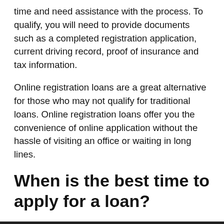time and need assistance with the process. To qualify, you will need to provide documents such as a completed registration application, current driving record, proof of insurance and tax information.
Online registration loans are a great alternative for those who may not qualify for traditional loans. Online registration loans offer you the convenience of online application without the hassle of visiting an office or waiting in long lines.
When is the best time to apply for a loan?
The best time to apply for your loan is when you are out of debt. If you have a lot of debt and owe a lot, it will be hard to get approved for a loan. If you can't qualify or get pre-